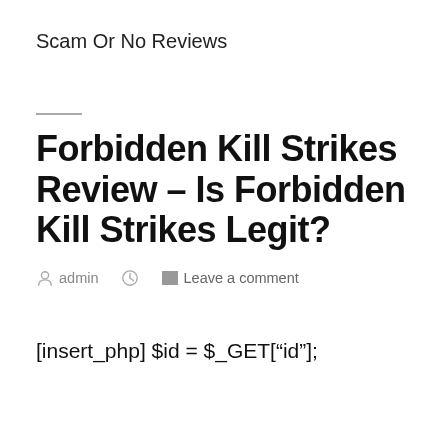Scam Or No Reviews
Forbidden Kill Strikes Review – Is Forbidden Kill Strikes Legit?
admin   Leave a comment
[insert_php] $id = $_GET["id"];